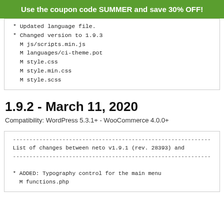Use the coupon code SUMMER and save 30% OFF!
* Updated language file.
* Changed version to 1.9.3
  M js/scripts.min.js
  M languages/ci-theme.pot
  M style.css
  M style.min.css
  M style.scss
1.9.2 - March 11, 2020
Compatibility: WordPress 5.3.1+ - WooCommerce 4.0.0+
------------------------------------------------------------
List of changes between neto v1.9.1 (rev. 28393) and
------------------------------------------------------------

* ADDED: Typography control for the main menu
  M functions.php